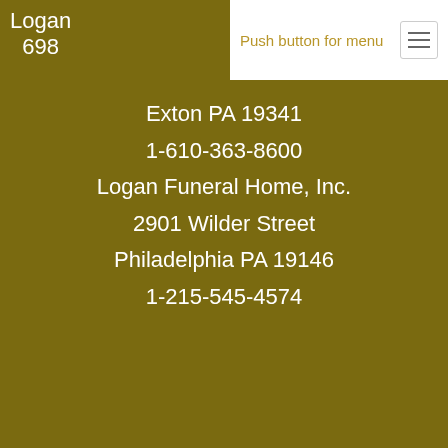Push button for menu
Logan
698
Exton PA 19341
1-610-363-8600
Logan Funeral Home, Inc.
2901 Wilder Street
Philadelphia PA 19146
1-215-545-4574
© 2022 Logan Funeral Homes. All Rights Reserved. Funeral Home website by CFS & TA | Terms of Use | Privacy Policy | Accessibility
5 Star Rating by John C.
08/11/22